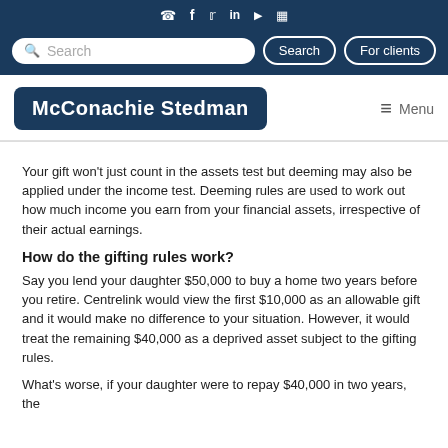McConachie Stedman — website header with social icons, search bar, navigation
Your gift won't just count in the assets test but deeming may also be applied under the income test. Deeming rules are used to work out how much income you earn from your financial assets, irrespective of their actual earnings.
How do the gifting rules work?
Say you lend your daughter $50,000 to buy a home two years before you retire. Centrelink would view the first $10,000 as an allowable gift and it would make no difference to your situation. However, it would treat the remaining $40,000 as a deprived asset subject to the gifting rules.
What's worse, if your daughter were to repay $40,000 in two years, the centrelink would the original $40,000 be counted in the assets test